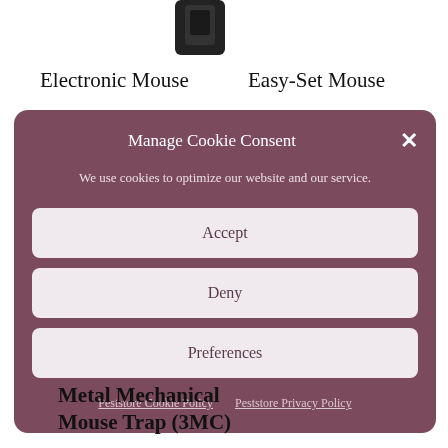[Figure (photo): Partial product image visible at top of page (mouse trap device, dark colored)]
Electronic Mouse
Easy-Set Mouse
Manage Cookie Consent
We use cookies to optimize our website and our service.
Accept
Deny
Preferences
Peststore Cookie Policy
Peststore Privacy Policy
Metal Mechanical Mouse Trap (3MC)